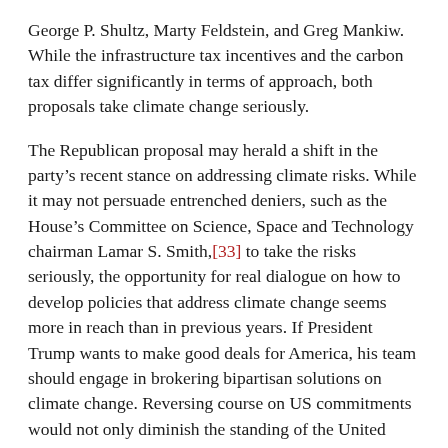George P. Shultz, Marty Feldstein, and Greg Mankiw. While the infrastructure tax incentives and the carbon tax differ significantly in terms of approach, both proposals take climate change seriously.
The Republican proposal may herald a shift in the party's recent stance on addressing climate risks. While it may not persuade entrenched deniers, such as the House's Committee on Science, Space and Technology chairman Lamar S. Smith,[33] to take the risks seriously, the opportunity for real dialogue on how to develop policies that address climate change seems more in reach than in previous years. If President Trump wants to make good deals for America, his team should engage in brokering bipartisan solutions on climate change. Reversing course on US commitments would not only diminish the standing of the United States with other world leaders but would also put us at a competitive disadvantage in the transition to a clean-energy economy.